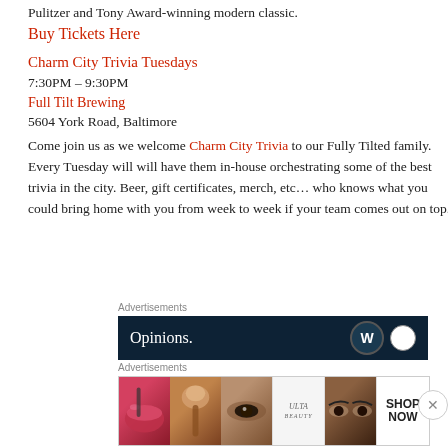Pulitzer and Tony Award-winning modern classic.
Buy Tickets Here
Charm City Trivia Tuesdays
7:30PM – 9:30PM
Full Tilt Brewing
5604 York Road, Baltimore
Come join us as we welcome Charm City Trivia to our Fully Tilted family. Every Tuesday will will have them in-house orchestrating some of the best trivia in the city. Beer, gift certificates, merch, etc… who knows what you could bring home with you from week to week if your team comes out on top.
Advertisements
[Figure (other): Dark navy advertisement banner with 'Opinions.' text and WordPress logo]
Advertisements
[Figure (other): Beauty advertisement strip showing lips, makeup brush, eye, ULTA logo, eyes, and SHOP NOW text]